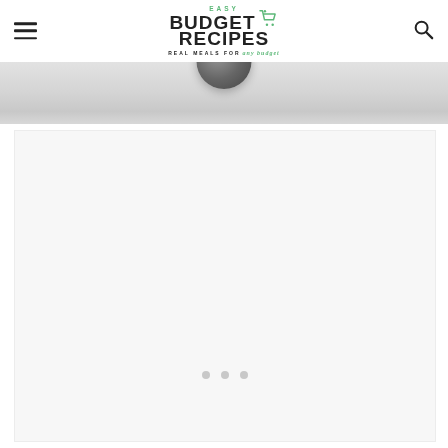Easy Budget Recipes - Real Meals for any budget
[Figure (photo): Partial view of a food photograph showing what appears to be a bowl or plate, with marble-textured background, cut off at the top of the page]
[Figure (other): White rectangular advertisement or content placeholder box with three loading dots (small gray circles) centered near the bottom of the box]